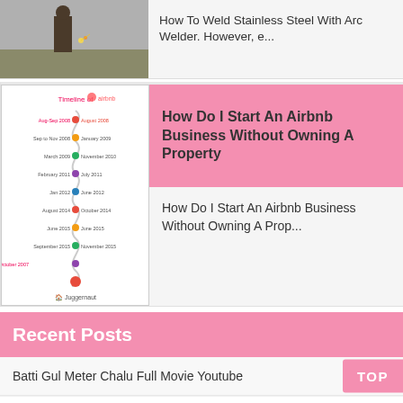[Figure (photo): Construction worker welding stainless steel with arc welder on site]
How To Weld Stainless Steel With Arc Welder. However, e...
[Figure (infographic): Timeline of Airbnb infographic showing company milestones from 2007 to present, with wavy connector line and colored dots, by Juggernaut]
How Do I Start An Airbnb Business Without Owning A Property
How Do I Start An Airbnb Business Without Owning A Prop...
Recent Posts
Batti Gul Meter Chalu Full Movie Youtube
How To Do Cove Lighting